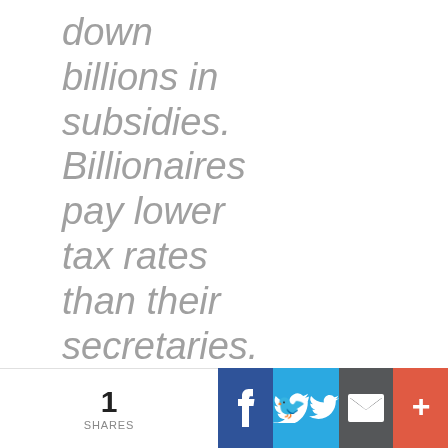down billions in subsidies. Billionaires pay lower tax rates than their secretaries. Wall Street CEOs—the same ones who wrecked
1 SHARES | Facebook | Twitter | Email | More